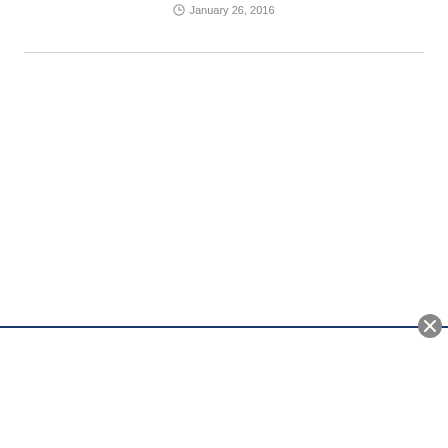January 26, 2016
[Figure (other): Horizontal divider line below header date area]
[Figure (other): Bottom modal/popup box with close button (X) in top-right corner. The box has a dark blue top border and white background.]